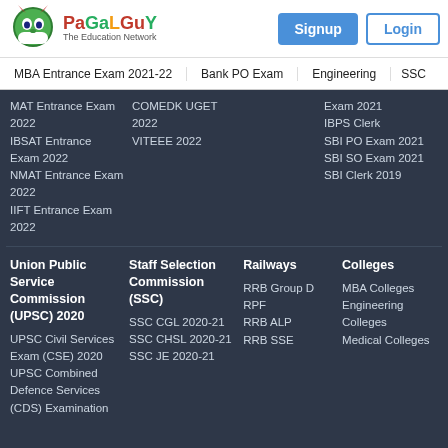PaGaLGuY - The Education Network
[Figure (logo): PaGaLGuY logo with devil mascot and tagline 'The Education Network']
Signup
Login
MBA Entrance Exam 2021-22 | Bank PO Exam | Engineering | SSC
MAT Entrance Exam 2022
IBSAT Entrance Exam 2022
NMAT Entrance Exam 2022
IIFT Entrance Exam 2022
COMEDK UGET 2022
VITEEE 2022
Exam 2021
IBPS Clerk
SBI PO Exam 2021
SBI SO Exam 2021
SBI Clerk 2019
Union Public Service Commission (UPSC) 2020
Staff Selection Commission (SSC)
Railways
Colleges
UPSC Civil Services Exam (CSE) 2020
UPSC Combined Defence Services (CDS) Examination
SSC CGL 2020-21
SSC CHSL 2020-21
SSC JE 2020-21
RRB Group D
RPF
RRB ALP
RRB SSE
MBA Colleges
Engineering Colleges
Medical Colleges